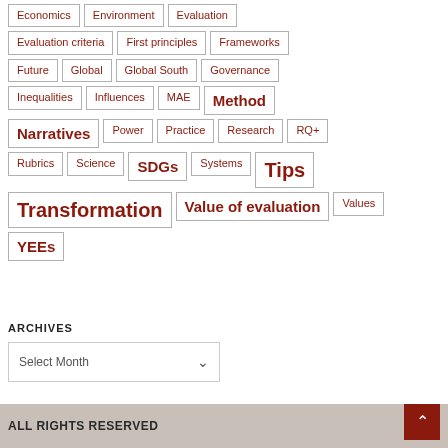Economics
Environment
Evaluation
Evaluation criteria
First principles
Frameworks
Future
Global
Global South
Governance
Inequalities
Influences
MAE
Method
Narratives
Power
Practice
Research
RQ+
Rubrics
Science
SDGs
Systems
Tips
Transformation
Value of evaluation
Values
YEEs
ARCHIVES
Select Month
ALL RIGHTS RESERVED